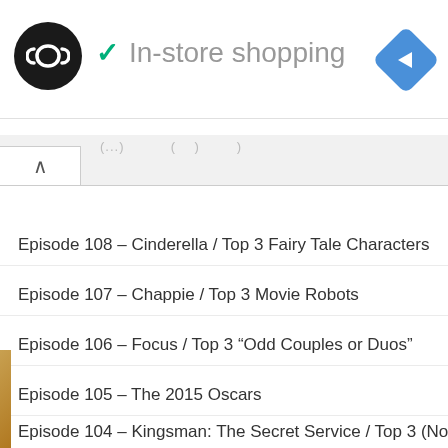[Figure (logo): Black circular logo with infinity/loop symbol in white]
✓ In-store shopping
[Figure (illustration): Blue diamond navigation arrow icon]
Episode 108 – Cinderella / Top 3 Fairy Tale Characters
Episode 107 – Chappie / Top 3 Movie Robots
Episode 106 – Focus / Top 3 "Odd Couples or Duos"
Episode 105 – The 2015 Oscars
Episode 104 – Kingsman: The Secret Service / Top 3 (Non-Superhero) Comic B
Episode 103 – Jupiter Ascending / Top 3 Directors Who Lost Their Touch
Episode 102 – Still Alice / Top 3 Julianne Moore Performances
Episode 101 – American Sniper / A Most Violent Year / Top 5 Most Anticipated F
Episode 100 – 100th Episode Celebration